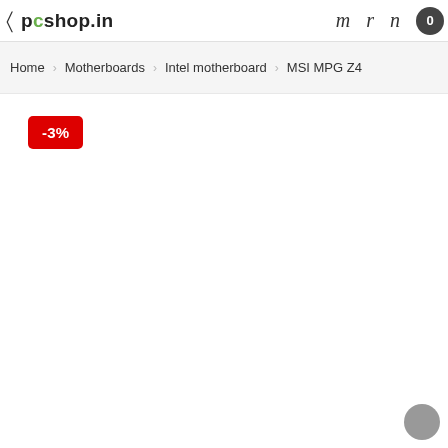pcshop.in  m  r  n  0
Home  Motherboards  Intel motherboard  MSI MPG Z4
-3%